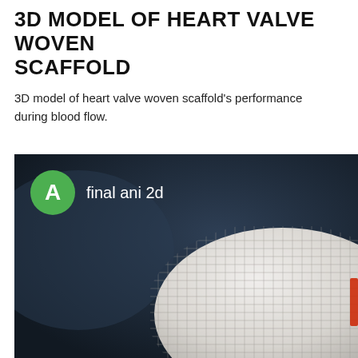3D MODEL OF HEART VALVE WOVEN SCAFFOLD
3D model of heart valve woven scaffold's performance during blood flow.
[Figure (photo): 3D rendered image of a woven heart valve scaffold on a dark background, showing a white mesh textile structure with a fine woven grid pattern. A green circle avatar with letter 'A' and label 'final ani 2d' overlaid in the top-left corner.]